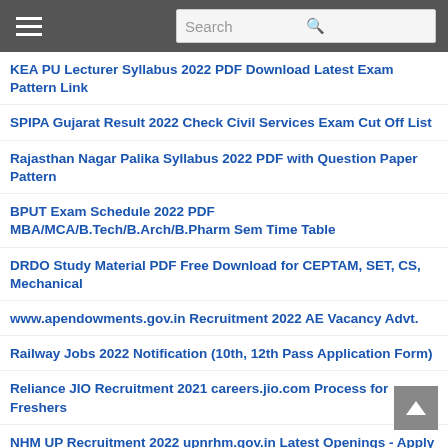Search
KEA PU Lecturer Syllabus 2022 PDF Download Latest Exam Pattern Link
SPIPA Gujarat Result 2022 Check Civil Services Exam Cut Off List
Rajasthan Nagar Palika Syllabus 2022 PDF with Question Paper Pattern
BPUT Exam Schedule 2022 PDF MBA/MCA/B.Tech/B.Arch/B.Pharm Sem Time Table
DRDO Study Material PDF Free Download for CEPTAM, SET, CS, Mechanical
www.apendowments.gov.in Recruitment 2022 AE Vacancy Advt.
Railway Jobs 2022 Notification (10th, 12th Pass Application Form)
Reliance JIO Recruitment 2021 careers.jio.com Process for Freshers
NHM UP Recruitment 2022 upnrhm.gov.in Latest Openings - Apply Online
JNTUH Hall Ticket 2022 Download UG, PG, B.Tech Exams @www.jntuh.ac.in